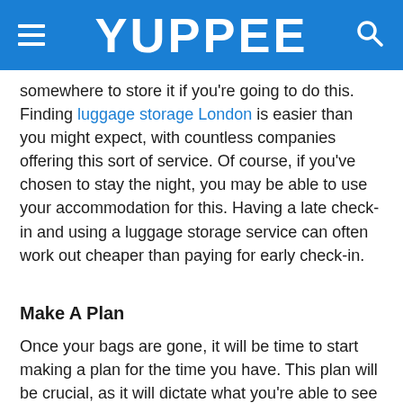YUPPEE
somewhere to store it if you're going to do this. Finding luggage storage London is easier than you might expect, with countless companies offering this sort of service. Of course, if you've chosen to stay the night, you may be able to use your accommodation for this. Having a late check-in and using a luggage storage service can often work out cheaper than paying for early check-in.
Make A Plan
Once your bags are gone, it will be time to start making a plan for the time you have. This plan will be crucial, as it will dictate what you're able to see in the time you have, and this means that you need to do it as efficiently as possible. There are loads of travel mapping apps that can